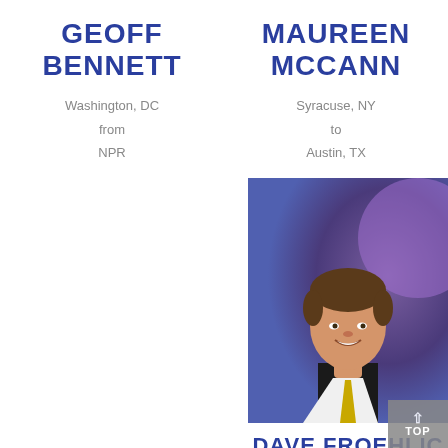GEOFF BENNETT
Washington, DC
from
NPR
MAUREEN MCCANN
Syracuse, NY
to
Austin, TX
[Figure (photo): Headshot of a man in a dark suit with a yellow tie, smiling, against a purple-blue blurred background]
DAVE FROEHLIC
Corpus Christi, TX
to